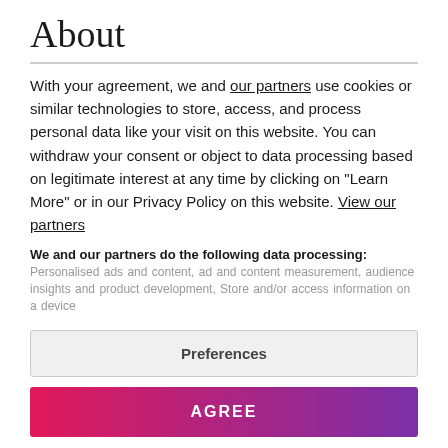About
With your agreement, we and our partners use cookies or similar technologies to store, access, and process personal data like your visit on this website. You can withdraw your consent or object to data processing based on legitimate interest at any time by clicking on "Learn More" or in our Privacy Policy on this website. View our partners
We and our partners do the following data processing: Personalised ads and content, ad and content measurement, audience insights and product development, Store and/or access information on a device
Preferences
AGREE